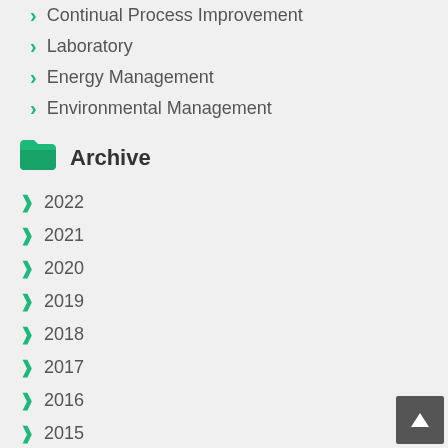Continual Process Improvement
Laboratory
Energy Management
Environmental Management
Archive
2022
2021
2020
2019
2018
2017
2016
2015